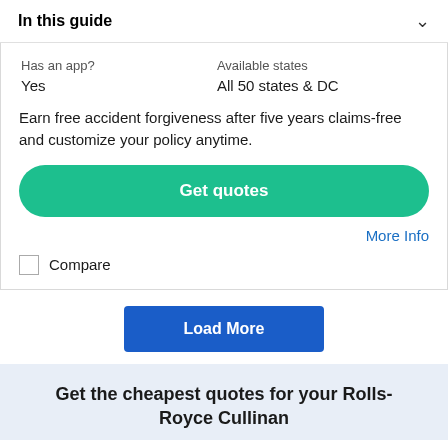In this guide
| Has an app? | Available states |
| --- | --- |
| Yes | All 50 states & DC |
Earn free accident forgiveness after five years claims-free and customize your policy anytime.
Get quotes
More Info
Compare
Load More
Get the cheapest quotes for your Rolls-Royce Cullinan